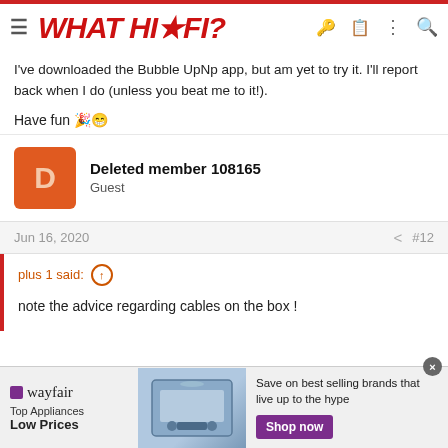WHAT HI*FI?
I've downloaded the Bubble UpNp app, but am yet to try it. I'll report back when I do (unless you beat me to it!).
Have fun 🎉😁
Deleted member 108165
Guest
Jun 16, 2020   #12
plus 1 said: ↑
note the advice regarding cables on the box !
[Figure (other): Wayfair advertisement banner: Top Appliances Low Prices, with appliance image and Shop now button]